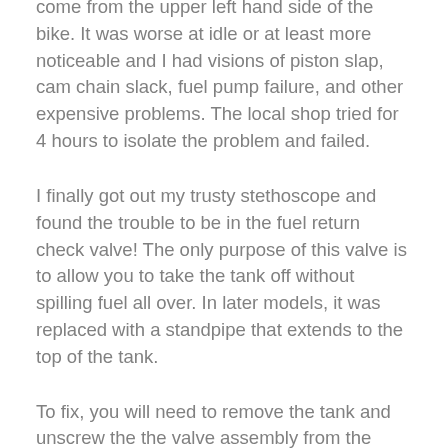come from the upper left hand side of the bike. It was worse at idle or at least more noticeable and I had visions of piston slap, cam chain slack, fuel pump failure, and other expensive problems. The local shop tried for 4 hours to isolate the problem and failed.
I finally got out my trusty stethoscope and found the trouble to be in the fuel return check valve! The only purpose of this valve is to allow you to take the tank off without spilling fuel all over. In later models, it was replaced with a standpipe that extends to the top of the tank.
To fix, you will need to remove the tank and unscrew the the valve assembly from the return petcock at the bottom of the tank. Look down into the petcock and you'll see a spring and a ball. Pry up the tabs and remove the spring and toss it away. Leave the ball and bend the tabs back.